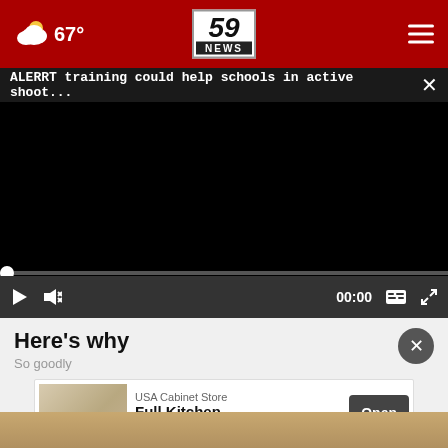59 NEWS — 67° weather
ALERRT training could help schools in active shoot...
[Figure (screenshot): Black video player area with progress bar and controls showing play button, mute button, timecode 00:00, captions and fullscreen icons]
Here's why
So goodly
[Figure (infographic): Ad banner: USA Cabinet Store — Full Kitchen Remodeling $9,500 with Open button]